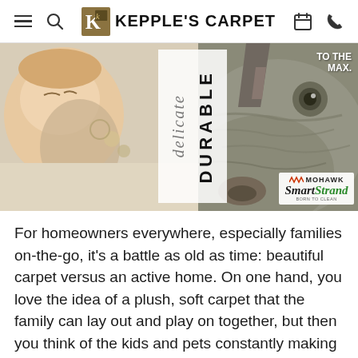Kepple's Carpet
[Figure (photo): Split advertisement image: left side shows a sleeping newborn baby on white carpet, right side shows a close-up of a rhinoceros face. Center overlay panel shows the words 'delicate' in italic white and 'DURABLE' in bold black vertical text. Top right shows 'TO THE MAX.' text. Bottom right corner shows Mohawk SmartStrand logo.]
For homeowners everywhere, especially families on-the-go, it's a battle as old as time: beautiful carpet versus an active home. On one hand, you love the idea of a plush, soft carpet that the family can lay out and play on together, but then you think of the kids and pets constantly making messes on it. You may feel like hard surface flooring in the